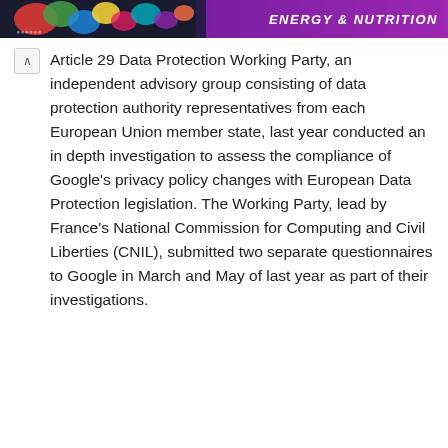[Figure (illustration): Website header banner with colorful graphic elements on the left and purple background with 'ENERGY & NUTRITION' text on the right]
Article 29 Data Protection Working Party, an independent advisory group consisting of data protection authority representatives from each European Union member state, last year conducted an in depth investigation to assess the compliance of Google’s privacy policy changes with European Data Protection legislation. The Working Party, lead by France’s National Commission for Computing and Civil Liberties (CNIL), submitted two separate questionnaires to Google in March and May of last year as part of their investigations.